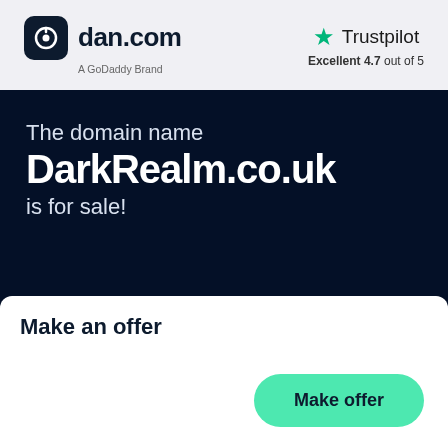[Figure (logo): dan.com logo with dark rounded square icon and text 'dan.com', subtitle 'A GoDaddy Brand']
[Figure (logo): Trustpilot logo with green star, text 'Trustpilot', and rating 'Excellent 4.7 out of 5']
The domain name
DarkRealm.co.uk
is for sale!
Make an offer
Make offer